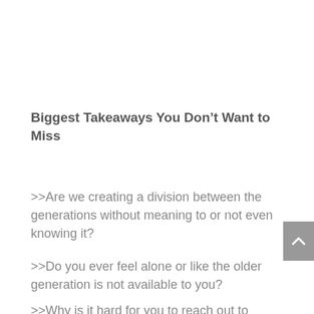Biggest Takeaways You Don’t Want to Miss
>>Are we creating a division between the generations without meaning to or not even knowing it?
>>Do you ever feel alone or like the older generation is not available to you?
>>Why is it hard for you to reach out to